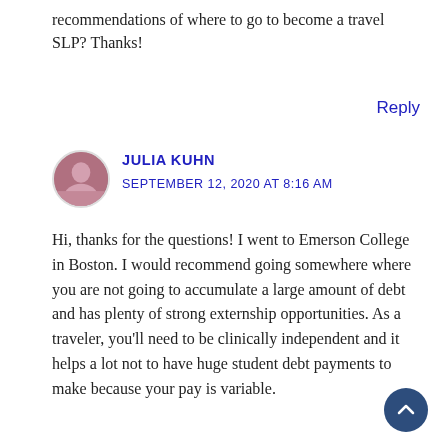recommendations of where to go to become a travel SLP? Thanks!
Reply
JULIA KUHN
SEPTEMBER 12, 2020 AT 8:16 AM
Hi, thanks for the questions! I went to Emerson College in Boston. I would recommend going somewhere where you are not going to accumulate a large amount of debt and has plenty of strong externship opportunities. As a traveler, you'll need to be clinically independent and it helps a lot not to have huge student debt payments to make because your pay is variable.